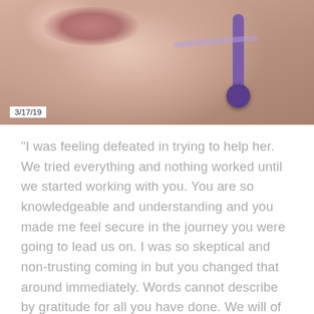[Figure (photo): Close-up photo of a person's face receiving a medical or beauty treatment, with a purple device/glasses near the eye area. Date stamp '3/17/19' in lower left of image.]
“I was feeling defeated in trying to help her. We tried everything and nothing worked until we started working with you. You are so knowledgeable and understanding and you made me feel secure in the journey you were going to lead us on. I was so skeptical and non-trusting coming in but you changed that around immediately. Words cannot describe by gratitude for all you have done. We will of course be sharing your